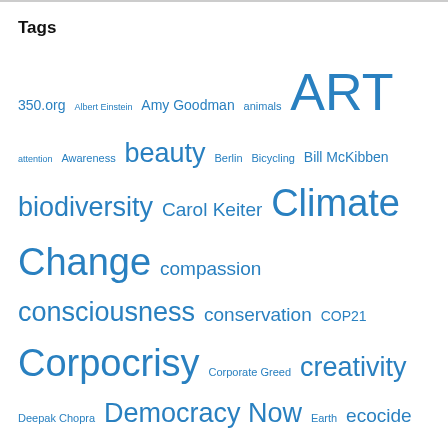Tags
350.org Albert Einstein Amy Goodman animals ART attention Awareness beauty Berlin Bicycling Bill McKibben biodiversity Carol Keiter Climate Change compassion consciousness conservation COP21 Corpocrisy Corporate Greed creativity Deepak Chopra Democracy Now Earth ecocide ecology Economics Education empathy empowerment Environment Environmental expeditionary learning extinction extinction rebellion Faber Castell Watercolor Pencils Fear France fun George Monbiot Germany Global Warming